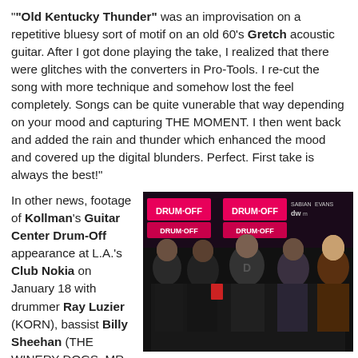"Old Kentucky Thunder" was an improvisation on a repetitive bluesy sort of motif on an old 60's Gretch acoustic guitar.  After I got done playing the take, I realized that there were glitches with the converters in Pro-Tools.  I re-cut the song with more technique and somehow lost the feel completely. Songs can be quite vunerable that way depending on your mood and capturing THE MOMENT.  I then went back and added the rain and thunder which enhanced the mood and covered up the digital blunders.  Perfect.  First take is always the best!"
In other news, footage of Kollman's Guitar Center Drum-Off appearance at L.A.'s Club Nokia  on January 18 with drummer Ray Luzier (KORN), bassist Billy Sheehan (THE WINERY DOGS, MR. BIG) and D.C. Slave...
[Figure (photo): Five people posing together at what appears to be a Guitar Center Drum-Off event. A banner with 'DRUM-OFF' text and sponsor logos (DW, Sabian, Evans) is visible in the background. The group includes musicians smiling at the camera.]